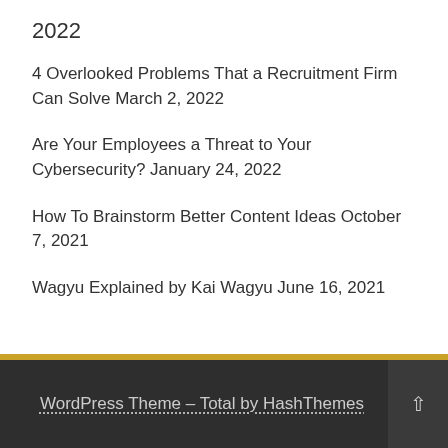2022
4 Overlooked Problems That a Recruitment Firm Can Solve March 2, 2022
Are Your Employees a Threat to Your Cybersecurity? January 24, 2022
How To Brainstorm Better Content Ideas October 7, 2021
Wagyu Explained by Kai Wagyu June 16, 2021
WordPress Theme - Total by HashThemes